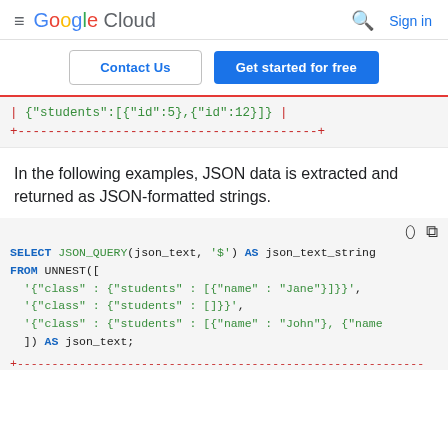≡ Google Cloud  🔍 Sign in
[Figure (screenshot): Google Cloud navigation bar with Contact Us and Get started for free buttons]
| {"students":[{"id":5},{"id":12}]} |
+----------------------------------------+
In the following examples, JSON data is extracted and returned as JSON-formatted strings.
SELECT JSON_QUERY(json_text, '$') AS json_text_string
FROM UNNEST([
  '{"class" : {"students" : [{"name" : "Jane"}]}}',
  '{"class" : {"students" : []}}',
  '{"class" : {"students" : [{"name" : "John"}, {"name',
  ]) AS json_text;
+-----------------------------------------------------------